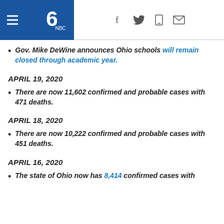NBC4 News header with navigation icons
Gov. Mike DeWine announces Ohio schools will remain closed through academic year.
APRIL 19, 2020
There are now 11,602 confirmed and probable cases with 471 deaths.
APRIL 18, 2020
There are now 10,222 confirmed and probable cases with 451 deaths.
APRIL 16, 2020
The state of Ohio now has 8,414 confirmed cases with